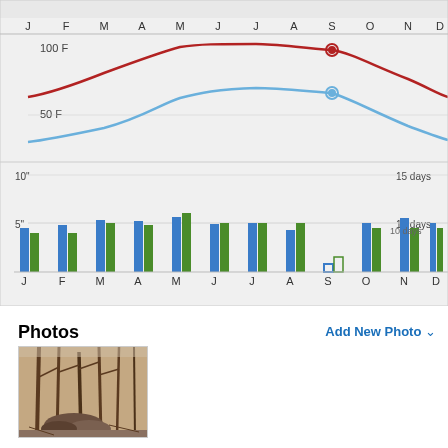[Figure (continuous-plot): Temperature line chart showing high (red) and low (blue) temperatures across months J-D. Both lines peak around August-September. Red line peaks near 100F, blue line peaks near 75F. Highlighted point on September.]
[Figure (grouped-bar-chart): Precipitation and rainy days by month]
Photos
Add New Photo
[Figure (photo): Outdoor woodland scene showing fallen rocks, debris and bare winter trees in a forest setting.]